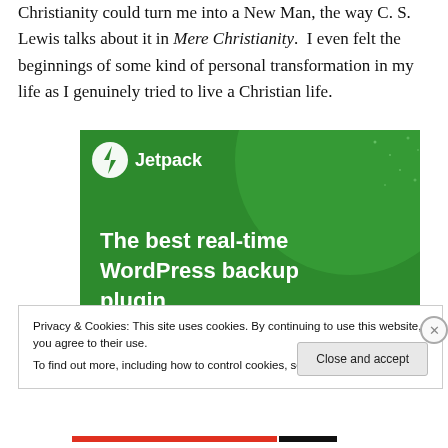Christianity could turn me into a New Man, the way C. S. Lewis talks about it in Mere Christianity.  I even felt the beginnings of some kind of personal transformation in my life as I genuinely tried to live a Christian life.
[Figure (other): Jetpack advertisement banner with green background showing lightning bolt logo and text: 'The best real-time WordPress backup plugin']
Privacy & Cookies: This site uses cookies. By continuing to use this website, you agree to their use.
To find out more, including how to control cookies, see here: Cookie Policy
Close and accept